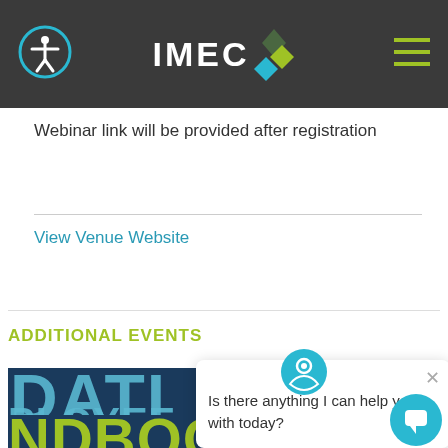IMEC
Webinar link will be provided after registration
View Venue Website
ADDITIONAL EVENTS
[Figure (photo): Partially visible book cover showing text 'DATI', 'PLOYEE', 'NDBOOK' in teal and green on dark blue background, suggesting an Employee Handbook]
Is there anything I can help you with today?